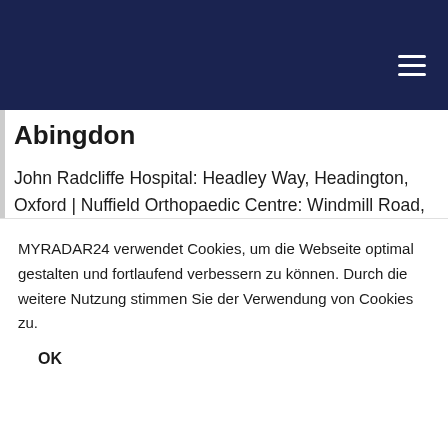Navigation bar with hamburger menu
Abingdon
John Radcliffe Hospital: Headley Way, Headington, Oxford | Nuffield Orthopaedic Centre: Windmill Road, Oxford | Royal Berkshire Hospital: Craven Road, Reading | Stoke Mandeville Hospital: Mandeville Road, Aylesbury | Churchill Hospital: Old Road, Headington, Oxford | Great Western Hospital: Marlborough Road, Swindon | Spire Dunedin Hospital: 16 Bath Road, Reading | Wycombe Hospital: Queen Alexandra Road, High Wycombe | Nuffield Health Oxford, The Manor Hospital: Beech Road, Oxford | Bury Knowle Surgery:
MYRADAR24 verwendet Cookies, um die Webseite optimal gestalten und fortlaufend verbessern zu können. Durch die weitere Nutzung stimmen Sie der Verwendung von Cookies zu.
OK